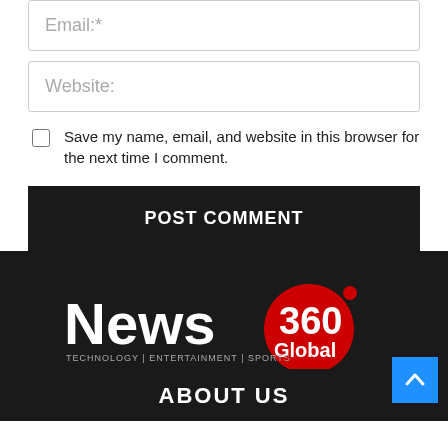Email:*
Website:
Save my name, email, and website in this browser for the next time I comment.
POST COMMENT
[Figure (logo): News 360 Global logo with red planet graphic and tagline: TECHNOLOGY | ENTERTAINMENT | SPORTS]
ABOUT US